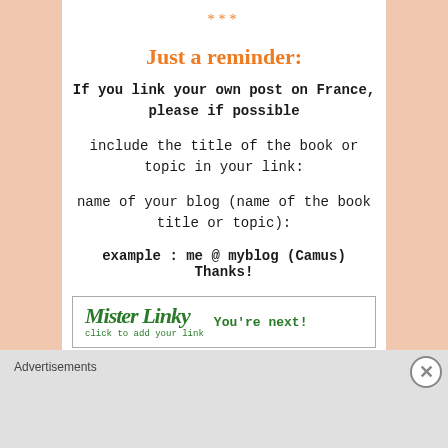***
Just a reminder:
If you link your own post on France, please if possible
include the title of the book or topic in your link:
name of your blog (name of the book title or topic):
example : me @ myblog (Camus)
Thanks!
[Figure (other): Mister Linky widget box with italic green logo text 'MisterLinky click to add your link' and bold green text 'You're next!']
Advertisements